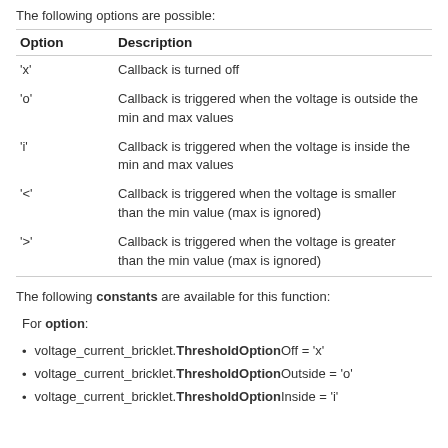The following options are possible:
| Option | Description |
| --- | --- |
| 'x' | Callback is turned off |
| 'o' | Callback is triggered when the voltage is outside the min and max values |
| 'i' | Callback is triggered when the voltage is inside the min and max values |
| '<' | Callback is triggered when the voltage is smaller than the min value (max is ignored) |
| '>' | Callback is triggered when the voltage is greater than the min value (max is ignored) |
The following constants are available for this function:
For option:
voltage_current_bricklet.ThresholdOptionOff = 'x'
voltage_current_bricklet.ThresholdOptionOutside = 'o'
voltage_current_bricklet.ThresholdOptionInside = 'i'